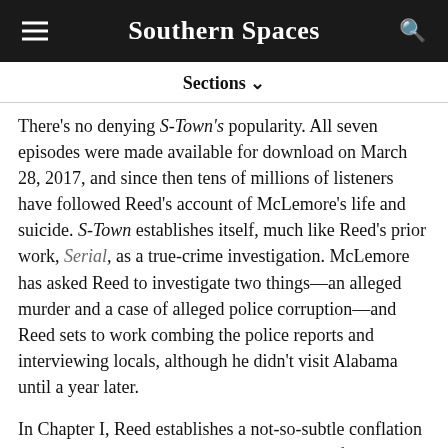Southern Spaces
Sections ∨
There's no denying S-Town's popularity. All seven episodes were made available for download on March 28, 2017, and since then tens of millions of listeners have followed Reed's account of McLemore's life and suicide. S-Town establishes itself, much like Reed's prior work, Serial, as a true-crime investigation. McLemore has asked Reed to investigate two things—an alleged murder and a case of alleged police corruption—and Reed sets to work combing the police reports and interviewing locals, although he didn't visit Alabama until a year later.
In Chapter I, Reed establishes a not-so-subtle conflation between Alabama and an imagined picture of the "South" as a whole. He does this in part by overstating the rurality of the setting. For example, Reed's description of where he stays on his first visit